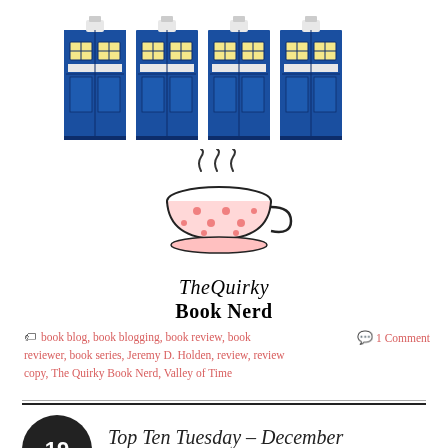[Figure (illustration): Four blue TARDIS police box illustrations in a row at the top of the page]
[Figure (logo): The Quirky Book Nerd logo: a teacup with steam and pink polka dots, with text 'The Quirky Book Nerd' below]
book blog, book blogging, book review, book reviewer, book series, Jeremy D. Holden, review, review copy, The Quirky Book Nerd, Valley of Time
1 Comment
Top Ten Tuesday – December